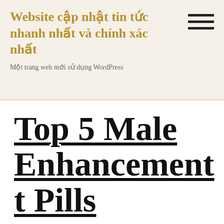Website cập nhật tin tức nhanh nhất và chính xác nhất
Một trang web mới sử dụng WordPress
Top 5 Male Enhancement t Pills